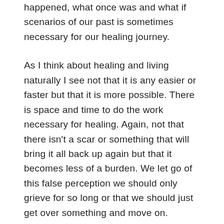happened, what once was and what if scenarios of our past is sometimes necessary for our healing journey.
As I think about healing and living naturally I see not that it is any easier or faster but that it is more possible. There is space and time to do the work necessary for healing. Again, not that there isn't a scar or something that will bring it all back up again but that it becomes less of a burden. We let go of this false perception we should only grieve for so long or that we should just get over something and move on. Instead it becomes our own time schedule for when we are done with those things and feel ready to let go of them. We see the grace of loving...